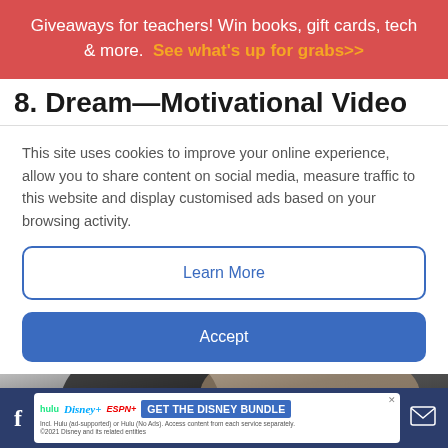Giveaways for teachers! Win books, gift cards, tech & more. See what's up for grabs>>
8. Dream—Motivational Video
This site uses cookies to improve your online experience, allow you to share content on social media, measure traffic to this website and display customised ads based on your browsing activity.
Learn More
Accept
[Figure (screenshot): Video thumbnail showing a close-up of a person's face with a YouTube play button overlay]
[Figure (infographic): Bottom advertisement bar showing Hulu, Disney+, ESPN+ logos and GET THE DISNEY BUNDLE call to action, with Facebook and mail icons on either side]